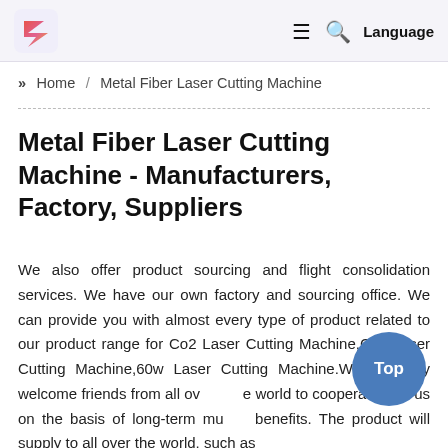≡  🔍  Language
» Home / Metal Fiber Laser Cutting Machine
Metal Fiber Laser Cutting Machine - Manufacturers, Factory, Suppliers
We also offer product sourcing and flight consolidation services. We have our own factory and sourcing office. We can provide you with almost every type of product related to our product range for Co2 Laser Cutting Machine,Cnc Laser Cutting Machine,60w Laser Cutting Machine.We sincerely welcome friends from all over the world to cooperate with us on the basis of long-term mutual benefits. The product will supply to all over the world, such as